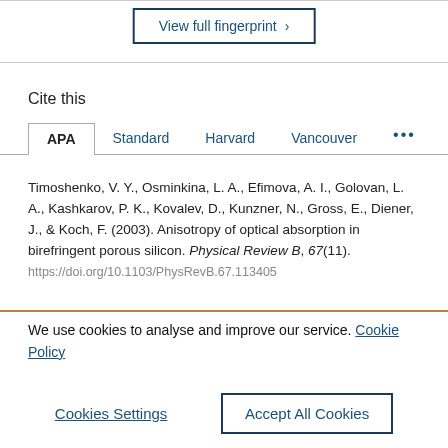View full fingerprint >
Cite this
APA | Standard | Harvard | Vancouver ...
Timoshenko, V. Y., Osminkina, L. A., Efimova, A. I., Golovan, L. A., Kashkarov, P. K., Kovalev, D., Kunzner, N., Gross, E., Diener, J., & Koch, F. (2003). Anisotropy of optical absorption in birefringent porous silicon. Physical Review B, 67(11). https://doi.org/10.1103/PhysRevB.67.113405
We use cookies to analyse and improve our service. Cookie Policy
Cookies Settings
Accept All Cookies